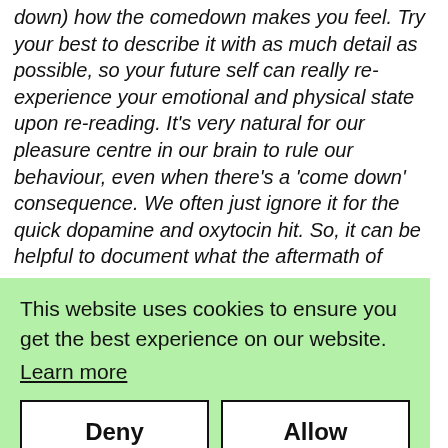down) how the comedown makes you feel. Try your best to describe it with as much detail as possible, so your future self can really re-experience your emotional and physical state upon re-reading. It's very natural for our pleasure centre in our brain to rule our behaviour, even when there's a 'come down' consequence. We often just ignore it for the quick dopamine and oxytocin hit. So, it can be helpful to document what the aftermath of
re- able you and sions ow). Write them down. Don't do anything with them
This website uses cookies to ensure you get the best experience on our website. Learn more
Deny | Allow